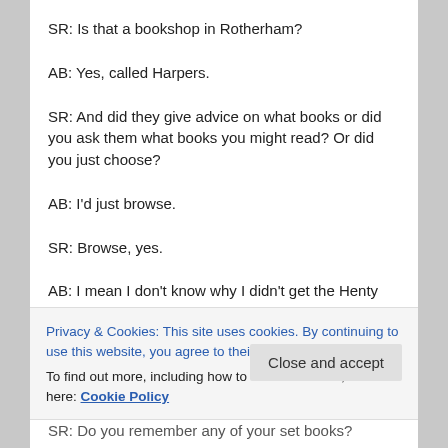SR: Is that a bookshop in Rotherham?
AB: Yes, called Harpers.
SR: And did they give advice on what books or did you ask them what books you might read? Or did you just choose?
AB: I'd just browse.
SR: Browse, yes.
AB: I mean I don't know why I didn't get the Henty books out of the library but I'm wondering if they didn't have them because he became quite sort of unpopular didn't he because he was an imperialist. So they may not have had them in the library.
Privacy & Cookies: This site uses cookies. By continuing to use this website, you agree to their use.
To find out more, including how to control cookies, see here: Cookie Policy
SR: Do you remember any of your set books?